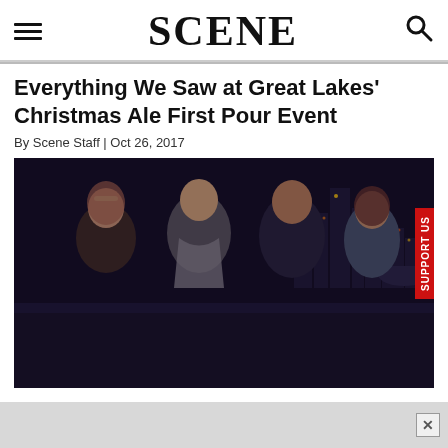SCENE
Everything We Saw at Great Lakes' Christmas Ale First Pour Event
By Scene Staff | Oct 26, 2017
[Figure (photo): Four smiling young people posing together at night outdoors with a city skyline visible in the background with colorful lights.]